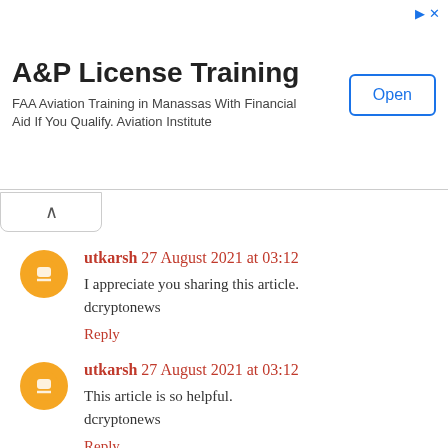[Figure (other): Advertisement banner for A&P License Training. Title: 'A&P License Training'. Text: 'FAA Aviation Training in Manassas With Financial Aid If You Qualify. Aviation Institute'. Button: 'Open'.]
utkarsh 27 August 2021 at 03:12
I appreciate you sharing this article. dcryptonews
Reply
utkarsh 27 August 2021 at 03:12
This article is so helpful. dcryptonews
Reply
utkarsh 27 August 2021 at 03:30